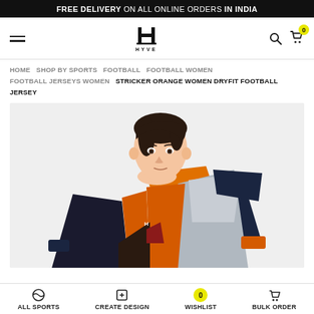FREE DELIVERY ON ALL ONLINE ORDERS IN INDIA
[Figure (logo): HYVE brand logo — stylized H with horizontal bar, text HYVE below]
HOME  SHOP BY SPORTS  FOOTBALL  FOOTBALL WOMEN  FOOTBALL JERSEYS WOMEN  STRICKER ORANGE WOMEN DRYFIT FOOTBALL JERSEY
[Figure (photo): Woman wearing an orange, black and grey geometric-pattern dryfit football jersey, looking straight at camera, against a light grey background]
ALL SPORTS  CREATE DESIGN  WISHLIST  BULK ORDER